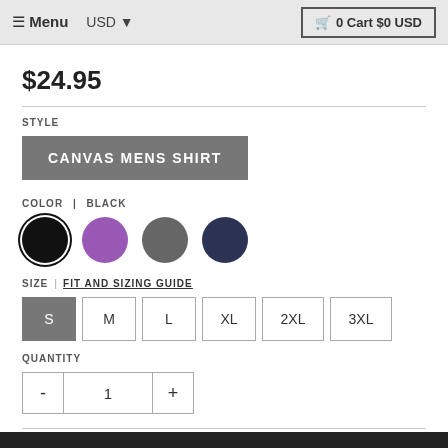Menu  USD  0 Cart $0 USD
$24.95
STYLE
CANVAS MENS SHIRT
COLOR | BLACK
[Figure (illustration): Four color swatches: black (selected, with ring), purple, gray, dark navy]
SIZE | FIT AND SIZING GUIDE
S  M  L  XL  2XL  3XL
QUANTITY
- 1 +